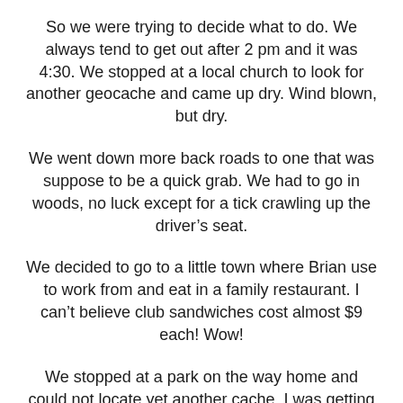So we were trying to decide what to do. We always tend to get out after 2 pm and it was 4:30. We stopped at a local church to look for another geocache and came up dry. Wind blown, but dry.
We went down more back roads to one that was suppose to be a quick grab. We had to go in woods, no luck except for a tick crawling up the driver’s seat.
We decided to go to a little town where Brian use to work from and eat in a family restaurant. I can’t believe club sandwiches cost almost $9 each! Wow!
We stopped at a park on the way home and could not locate yet another cache. I was getting bummed! Today I emailed a husband and wife cacher as they found it the same day! They said it was in a grate in the middle of a